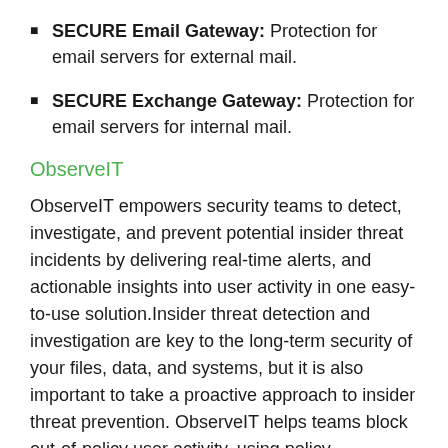SECURE Email Gateway: Protection for email servers for external mail.
SECURE Exchange Gateway: Protection for email servers for internal mail.
ObserveIT
ObserveIT empowers security teams to detect, investigate, and prevent potential insider threat incidents by delivering real-time alerts, and actionable insights into user activity in one easy-to-use solution.Insider threat detection and investigation are key to the long-term security of your files, data, and systems, but it is also important to take a proactive approach to insider threat prevention. ObserveIT helps teams block out-of-policy user activity, using policy reminders, warning prompts, and robust app-blocking controls.